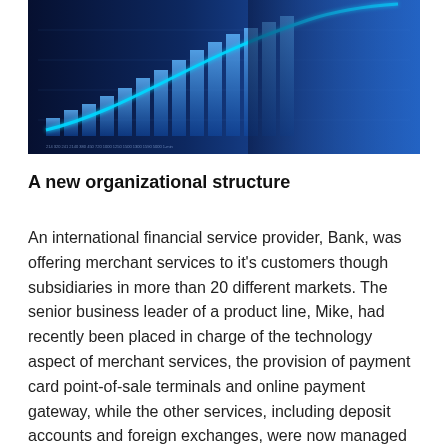[Figure (photo): A dark blue-toned financial illustration showing glowing blue bar chart bars rising from left to right with a bright neon-blue trend line arching upward, overlaid with a blurred image of a businessman's hand pointing or gesturing, suggesting financial growth and technology.]
A new organizational structure
An international financial service provider, Bank, was offering merchant services to it's customers though subsidiaries in more than 20 different markets. The senior business leader of a product line, Mike, had recently been placed in charge of the technology aspect of merchant services, the provision of payment card point-of-sale terminals and online payment gateway, while the other services, including deposit accounts and foreign exchanges, were now managed by another senior leader, Charles.